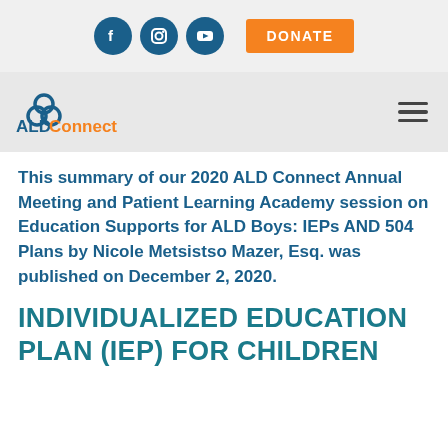[Figure (logo): Social media icons (Facebook, Instagram, YouTube) and DONATE button in orange]
[Figure (logo): ALDConnect logo with spiral icon and hamburger menu]
This summary of our 2020 ALD Connect Annual Meeting and Patient Learning Academy session on Education Supports for ALD Boys: IEPs AND 504 Plans by Nicole Metsistso Mazer, Esq. was published on December 2, 2020.
INDIVIDUALIZED EDUCATION PLAN (IEP) FOR CHILDREN